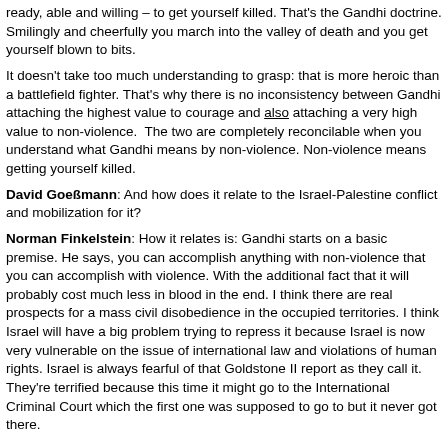ready, able and willing – to get yourself killed. That's the Gandhi doctrine. Smilingly and cheerfully you march into the valley of death and you get yourself blown to bits.
It doesn't take too much understanding to grasp: that is more heroic than a battlefield fighter. That's why there is no inconsistency between Gandhi attaching the highest value to courage and also attaching a very high value to non-violence.  The two are completely reconcilable when you understand what Gandhi means by non-violence. Non-violence means getting yourself killed.
David Goeßmann: And how does it relate to the Israel-Palestine conflict and mobilization for it?
Norman Finkelstein: How it relates is: Gandhi starts on a basic premise. He says, you can accomplish anything with non-violence that you can accomplish with violence. With the additional fact that it will probably cost much less in blood in the end. I think there are real prospects for a mass civil disobedience in the occupied territories. I think Israel will have a big problem trying to repress it because Israel is now very vulnerable on the issue of international law and violations of human rights. Israel is always fearful of that Goldstone II report as they call it. They're terrified because this time it might go to the International Criminal Court which the first one was supposed to go to but it never got there.